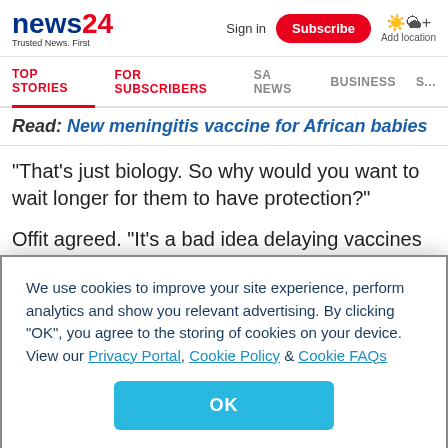news24 Trusted News. First | Sign in | Subscribe | Add location
TOP STORIES | FOR SUBSCRIBERS | SA NEWS | BUSINESS | SP
Read: New meningitis vaccine for African babies
"That's just biology. So why would you want to wait longer for them to have protection?"
Offit agreed. "It's a bad idea delaying vaccines because all you're doing is increasing the period of time in which you're susceptible to infections without any known benefit
We use cookies to improve your site experience, perform analytics and show you relevant advertising. By clicking "OK", you agree to the storing of cookies on your device. View our Privacy Portal, Cookie Policy & Cookie FAQs
OK